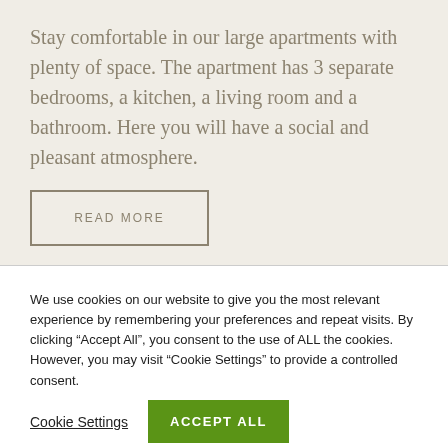Stay comfortable in our large apartments with plenty of space. The apartment has 3 separate bedrooms, a kitchen, a living room and a bathroom. Here you will have a social and pleasant atmosphere.
READ MORE
We use cookies on our website to give you the most relevant experience by remembering your preferences and repeat visits. By clicking “Accept All”, you consent to the use of ALL the cookies. However, you may visit “Cookie Settings” to provide a controlled consent.
Cookie Settings
ACCEPT ALL